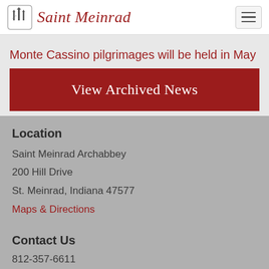Saint Meinrad
Monte Cassino pilgrimages will be held in May
View Archived News
Location
Saint Meinrad Archabbey
200 Hill Drive
St. Meinrad, Indiana 47577
Maps & Directions
Contact Us
812-357-6611